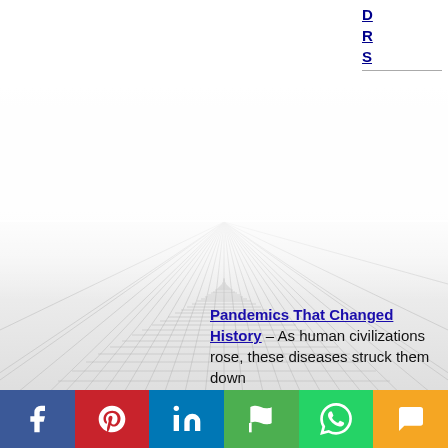D
R
S
[Figure (illustration): 3D perspective grid floor with vanishing point in the center, fading from dark gray grid at bottom to white haze at the horizon. The grid lines converge to a central vanishing point, creating an infinite floor illusion.]
Pandemics That Changed History - As human civilizations rose, these diseases struck them down